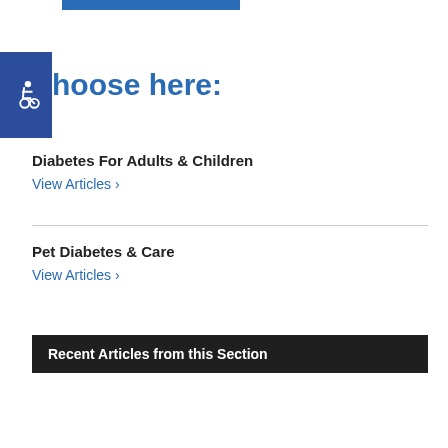[Figure (other): Blue horizontal bar at top of page]
[Figure (other): Blue square with white wheelchair accessibility icon]
hoose here:
Diabetes For Adults & Children
View Articles ›
Pet Diabetes & Care
View Articles ›
Recent Articles from this Section